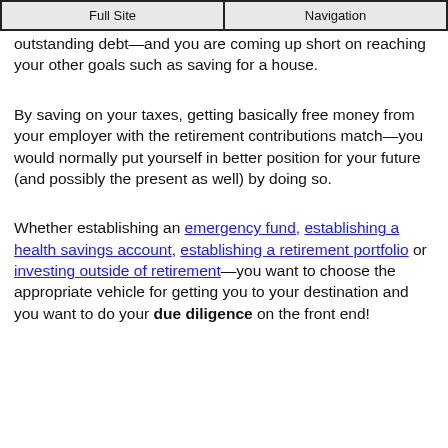Full Site | Navigation
outstanding debt—and you are coming up short on reaching your other goals such as saving for a house.
By saving on your taxes, getting basically free money from your employer with the retirement contributions match—you would normally put yourself in better position for your future (and possibly the present as well) by doing so.
Whether establishing an emergency fund, establishing a health savings account, establishing a retirement portfolio or investing outside of retirement—you want to choose the appropriate vehicle for getting you to your destination and you want to do your due diligence on the front end!